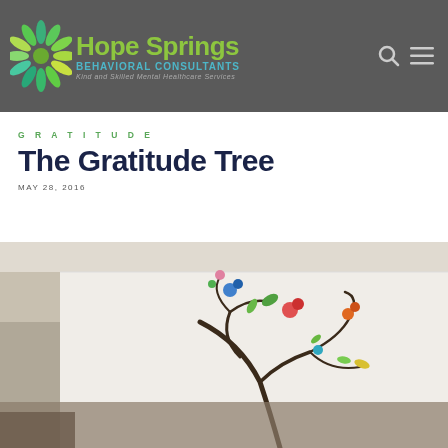Hope Springs Behavioral Consultants — Kind and Skilled Mental Healthcare Services
GRATITUDE
The Gratitude Tree
MAY 28, 2016
[Figure (photo): A colorful decorative tree mural on a white wall in an office hallway, featuring stylized swirling branches with colorful leaves and bird/butterfly shapes in red, blue, green and yellow.]